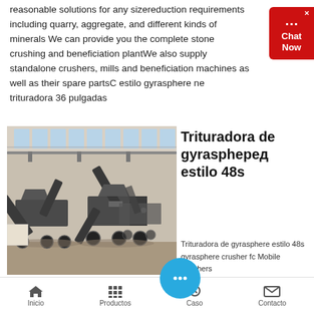reasonable solutions for any sizereduction requirements including quarry, aggregate, and different kinds of minerals We can provide you the complete stone crushing and beneficiation plantWe also supply standalone crushers, mills and beneficiation machines as well as their spare partsC estilo gyrasphere ne trituradora 36 pulgadas
[Figure (photo): Industrial photo of mobile crushing/screening equipment inside a large factory warehouse building with high windows and overhead cranes]
Trituradora de gyraspheред estilo 48s
Trituradora de gyrasphere estilo 48s gyrasphere crusher fc Mobile Crushers
Inicio  Productos  Caso  Contacto